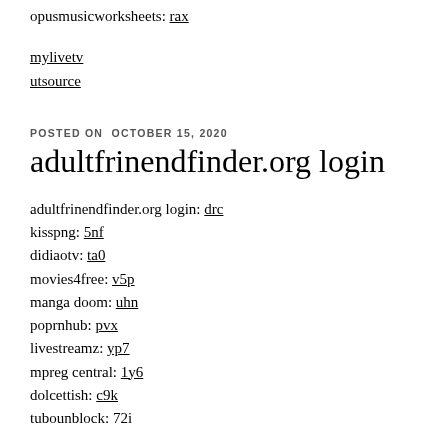opusmusicworksheets: rax
mylivetv
utsource
POSTED ON OCTOBER 15, 2020
adultfrinendfinder.org login
adultfrinendfinder.org login: drc
kisspng: 5nf
didiaotv: ta0
movies4free: v5p
manga doom: uhn
poprnhub: pvx
livestreamz: yp7
mpreg central: 1y6
dolcettish: c9k
tubounblock: 72i